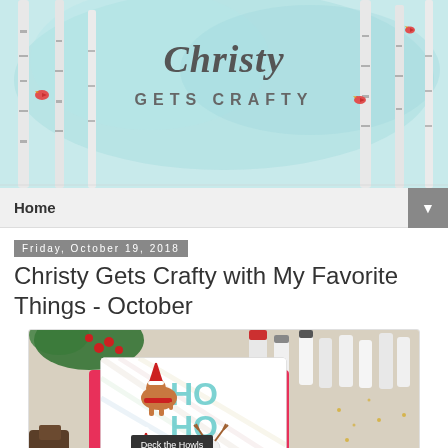[Figure (illustration): Blog header banner for 'Christy Gets Crafty' — watercolor light blue/teal background with illustrated birch trees, birds, and the blog title in script and sans-serif lettering]
Home ▼
Friday, October 19, 2018
Christy Gets Crafty with My Favorite Things - October
[Figure (photo): Photo of a handmade Christmas card reading 'Deck the Howls' with illustrated dogs wearing Santa hats and scarves on a striped background with HO HO in teal letters, surrounded by craft supplies, red berries, and greenery]